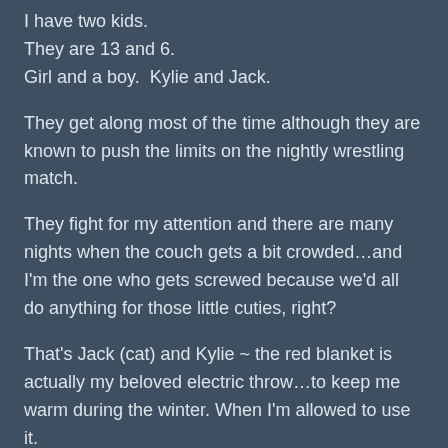I have two kids.
They are 13 and 6.
Girl and a boy.  Kylie and Jack.
They get along most of the time although they are known to push the limits on the nightly wrestling match.
They fight for my attention and there are many nights when the couch gets a bit crowded…and I'm the one who gets screwed because we'd all do anything for those little cuties, right?
That's Jack (cat) and Kylie ~ the red blanket is actually my beloved electric throw…to keep me warm during the winter. When I'm allowed to use it.